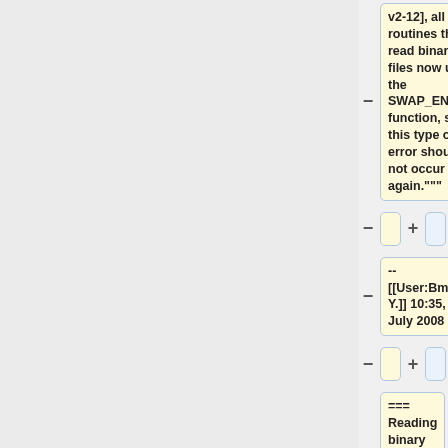v2-12], all routines that read binary files now use the SWAP_ENDIAN function, so this type of error should not occur again."""
--
[[User:Bmy|Bob Y.]] 10:35, 18 July 2008 (EDT)
=== Reading binary punch files directly from IDL ===